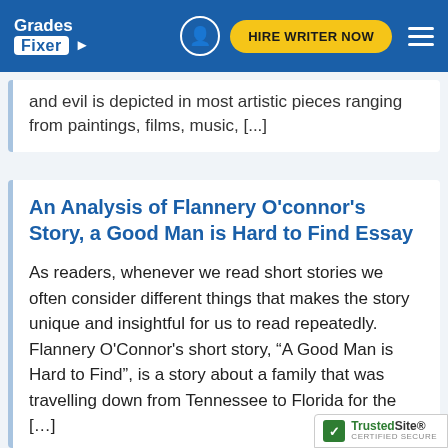Grades Fixer | HIRE WRITER NOW
and evil is depicted in most artistic pieces ranging from paintings, films, music, [...]
An Analysis of Flannery O'connor's Story, a Good Man is Hard to Find Essay
As readers, whenever we read short stories we often consider different things that makes the story unique and insightful for us to read repeatedly. Flannery O'Connor's short story, “A Good Man is Hard to Find", is a story about a family that was travelling down from Tennessee to Florida for the [...]